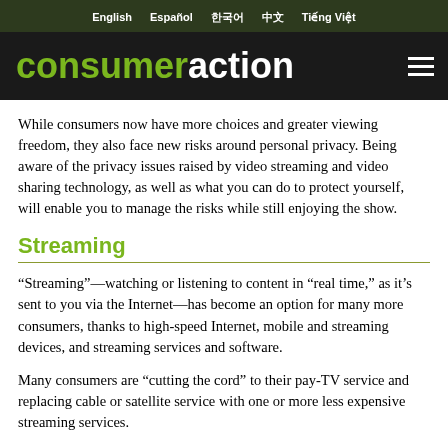English  Español  한국어  中文  Tiếng Việt
[Figure (logo): Consumer Action logo — 'consumer' in green bold sans-serif, 'action' in white bold sans-serif, on dark background with hamburger menu icon]
While consumers now have more choices and greater viewing freedom, they also face new risks around personal privacy. Being aware of the privacy issues raised by video streaming and video sharing technology, as well as what you can do to protect yourself, will enable you to manage the risks while still enjoying the show.
Streaming
“Streaming”—watching or listening to content in “real time,” as it’s sent to you via the Internet—has become an option for many more consumers, thanks to high-speed Internet, mobile and streaming devices, and streaming services and software.
Many consumers are “cutting the cord” to their pay-TV service and replacing cable or satellite service with one or more less expensive streaming services.